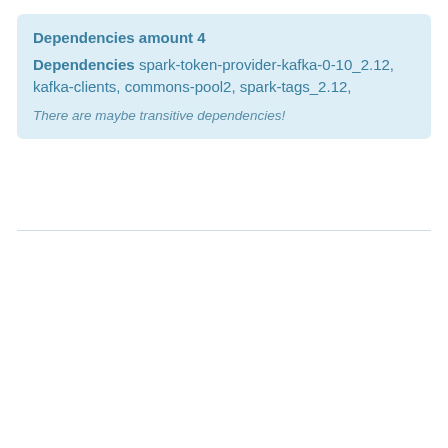Dependencies amount 4
Dependencies spark-token-provider-kafka-0-10_2.12, kafka-clients, commons-pool2, spark-tags_2.12,
There are maybe transitive dependencies!